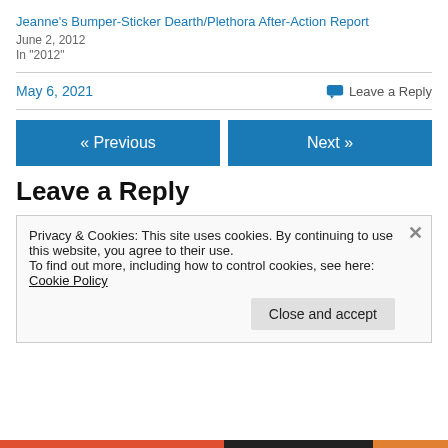Jeanne's Bumper-Sticker Dearth/Plethora After-Action Report
June 2, 2012
In "2012"
May 6, 2021
💬 Leave a Reply
« Previous
Next »
Leave a Reply
Privacy & Cookies: This site uses cookies. By continuing to use this website, you agree to their use.
To find out more, including how to control cookies, see here: Cookie Policy
Close and accept